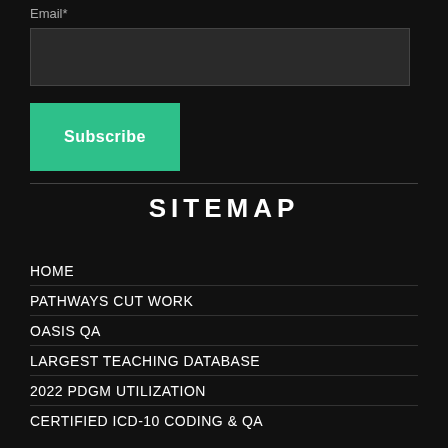Email*
[Figure (other): Email input field (dark background text box)]
[Figure (other): Subscribe button (green/teal background with white bold text)]
SITEMAP
HOME
PATHWAYS CUT WORK
OASIS QA
LARGEST TEACHING DATABASE
2022 PDGM UTILIZATION
CERTIFIED ICD-10 CODING & QA